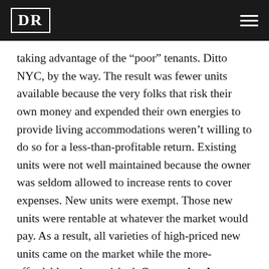DR
taking advantage of the “poor” tenants. Ditto NYC, by the way. The result was fewer units available because the very folks that risk their own money and expended their own energies to provide living accommodations weren’t willing to do so for a less-than-profitable return. Existing units were not well maintained because the owner was seldom allowed to increase rents to cover expenses. New units were exempt. Those new units were rentable at whatever the market would pay. As a result, all varieties of high-priced new units came on the market while the more-affordable units vanished. Once again, the very folks who were supposed to be helped by rent controls now found themselves with no choices, thanks to